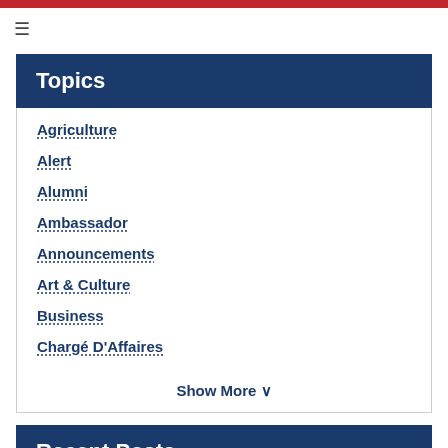Topics
Agriculture
Alert
Alumni
Ambassador
Announcements
Art & Culture
Business
Chargé D'Affaires
Show More ∨
Recent Posts